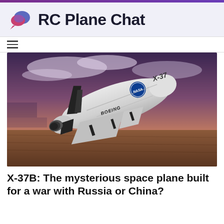RC Plane Chat
[Figure (photo): Illustration of the X-37B space plane (Boeing/NASA) flying above Earth's surface with a purple-hued sky and clouds in the background. The white spacecraft has black fins and landing gear, with NASA and Boeing logos, and 'X-37' text visible on the fuselage.]
X-37B: The mysterious space plane built for a war with Russia or China?